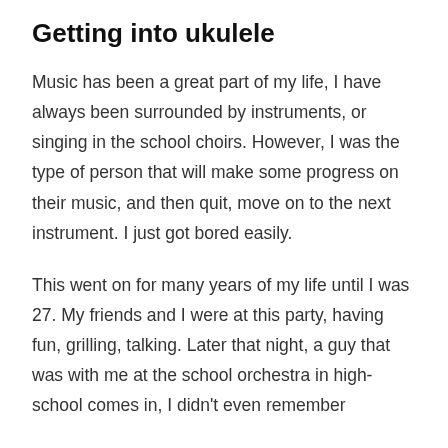Getting into ukulele
Music has been a great part of my life, I have always been surrounded by instruments, or singing in the school choirs. However, I was the type of person that will make some progress on their music, and then quit, move on to the next instrument. I just got bored easily.
This went on for many years of my life until I was 27. My friends and I were at this party, having fun, grilling, talking. Later that night, a guy that was with me at the school orchestra in high-school comes in, I didn't even remember